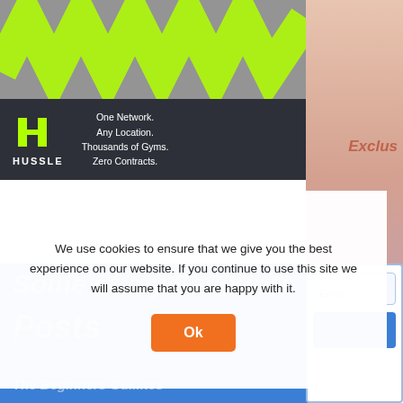[Figure (illustration): Hussle gym network advertisement banner. Top half shows a grey gym equipment photo with neon green zigzag/W pattern overlay. Bottom half is dark (near-black) with Hussle logo (green H icon and white HUSSLE text) on the left, and white text tagline on the right: 'One Network. Any Location. Thousands of Gyms. Zero Contracts.']
[Figure (illustration): Partial right sidebar with peach/salmon gradient background. Partially visible italic text reading 'Exclus...' in dark orange/red color.]
Some of my Favourite Posts
The Beginners Guide...tes
We use cookies to ensure that we give you the best experience on our website. If you continue to use this site we will assume that you are happy with it.
Ok